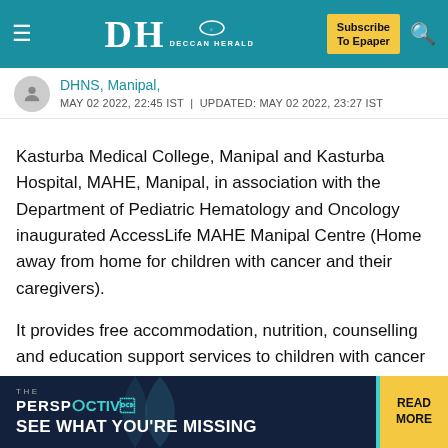DH DECCAN HERALD | Subscribe To Epaper
DHNS, Manipal,
MAY 02 2022, 22:45 IST | UPDATED: MAY 02 2022, 23:27 IST
Kasturba Medical College, Manipal and Kasturba Hospital, MAHE, Manipal, in association with the Department of Pediatric Hematology and Oncology inaugurated AccessLife MAHE Manipal Centre (Home away from home for children with cancer and their caregivers).
It provides free accommodation, nutrition, counselling and education support services to children with cancer and their caregivers. The home, AccessLife MAHE Manipal Centre, is located opposite Energy Cell, near BQ Road, Madhavanagar.
[Figure (other): THE PERSPECTIVE advertisement banner at the bottom of the page reading SEE WHAT YOU'RE MISSING with a READ MORE button]